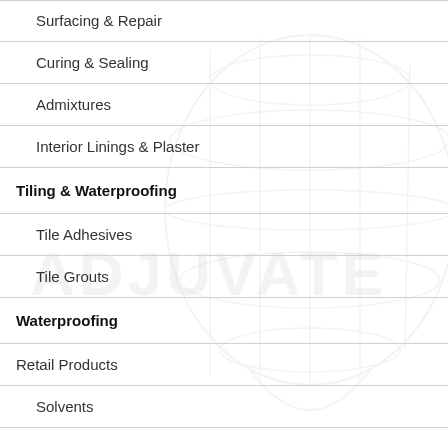Surfacing & Repair
Curing & Sealing
Admixtures
Interior Linings & Plaster
Tiling & Waterproofing
Tile Adhesives
Tile Grouts
Waterproofing
Retail Products
Solvents